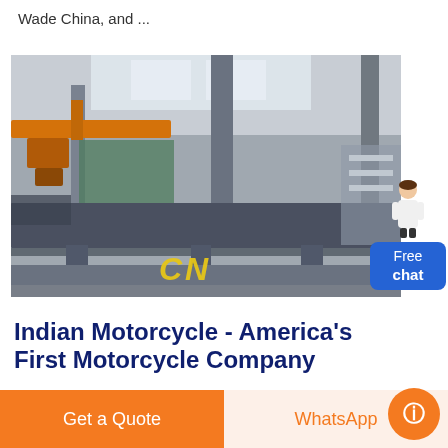Wade China, and ...
[Figure (photo): Industrial warehouse interior showing a large steel welded table/platform structure with metal legs, with an orange overhead crane in the background. CN watermark in yellow italic text at the bottom center.]
Indian Motorcycle - America's First Motorcycle Company
Get a Quote | WhatsApp